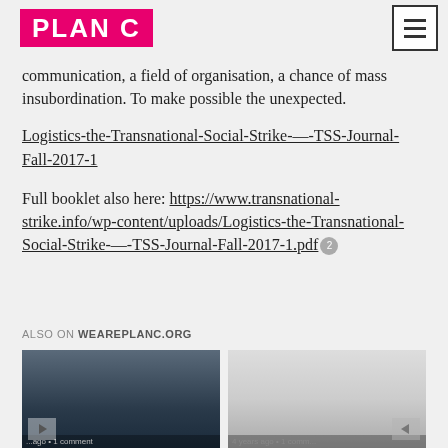PLAN C
communication, a field of organisation, a chance of mass insubordination. To make possible the unexpected.
Logistics-the-Transnational-Social-Strike-—-TSS-Journal-Fall-2017-1
Full booklet also here: https://www.transnational-strike.info/wp-content/uploads/Logistics-the-Transnational-Social-Strike-—-TSS-Journal-Fall-2017-1.pdf
ALSO ON WEAREPLANC.ORG
[Figure (photo): Two thumbnail images showing article previews from weareplanc.org. Left thumbnail shows a crowd of people including a prominent figure. Right thumbnail shows a lighter colored image.]